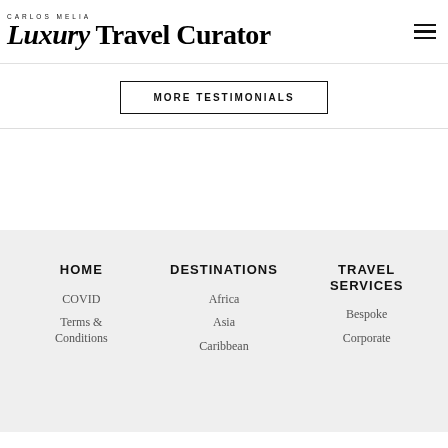CARLOS MELIA Luxury Travel Curator
MORE TESTIMONIALS
HOME | DESTINATIONS | TRAVEL SERVICES | COVID | Terms & Conditions | Africa | Asia | Caribbean | Bespoke | Corporate